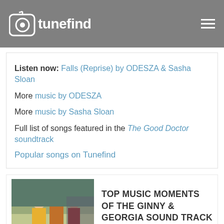tunefind
Listen now: Falls (Reprise) by ODESZA & Sasha Sloan
More music by ODESZA
More music by Sasha Sloan
Full list of songs featured in the The Good Doctor soundtrack
Popular songs on Tunefind
[Figure (photo): Promotional image for Ginny & Georgia TV show with three people standing outdoors]
TOP MUSIC MOMENTS OF THE GINNY & GEORGIA SOUND TRACK